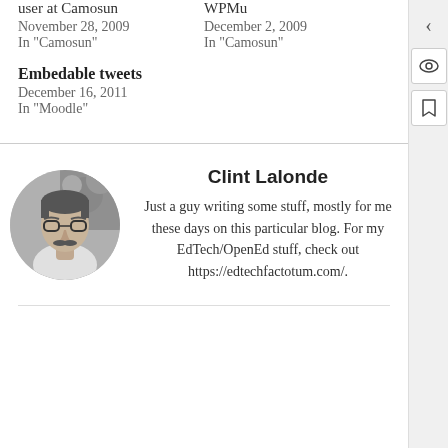user at Camosun
November 28, 2009
In "Camosun"
WPMu
December 2, 2009
In "Camosun"
Embedable tweets
December 16, 2011
In "Moodle"
[Figure (photo): Circular profile photo of Clint Lalonde, a man with glasses and a mustache, shown in black and white]
Clint Lalonde
Just a guy writing some stuff, mostly for me these days on this particular blog. For my EdTech/OpenEd stuff, check out https://edtechfactotum.com/.